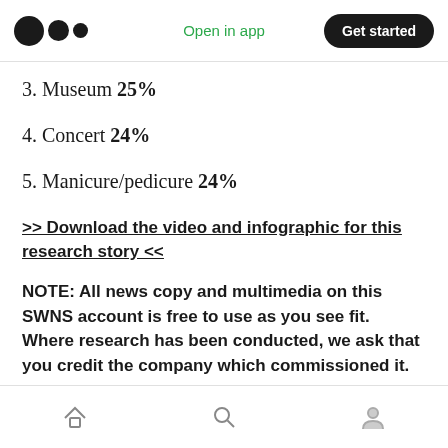Open in app  Get started
3. Museum 25%
4. Concert 24%
5. Manicure/pedicure 24%
>> Download the video and infographic for this research story <<
NOTE: All news copy and multimedia on this SWNS account is free to use as you see fit. Where research has been conducted, we ask that you credit the company which commissioned it.
Home  Search  Profile